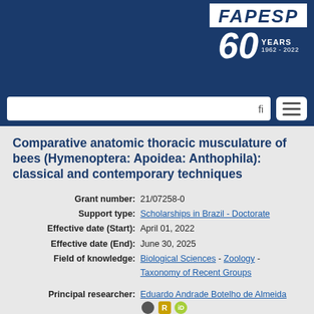[Figure (logo): FAPESP 60 YEARS 1962-2022 logo on dark blue header background with search bar and menu button]
Comparative anatomic thoracic musculature of bees (Hymenoptera: Apoidea: Anthophila): classical and contemporary techniques
| Grant number: | 21/07258-0 |
| Support type: | Scholarships in Brazil - Doctorate |
| Effective date (Start): | April 01, 2022 |
| Effective date (End): | June 30, 2025 |
| Field of knowledge: | Biological Sciences - Zoology - Taxonomy of Recent Groups |
| Principal researcher: | Eduardo Andrade Botelho de Almeida [icons] |
| Grantee: | Odair Milioni de Meira [icons] |